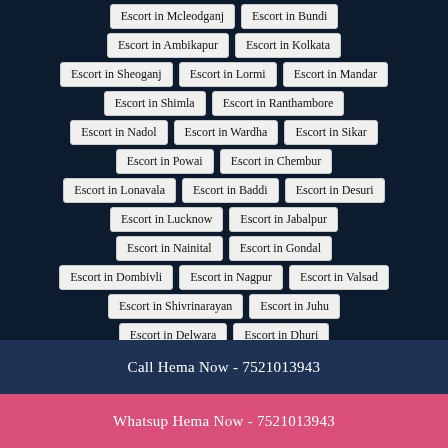Escort in Mcleodganj
Escort in Bundi
Escort in Ambikapur
Escort in Kolkata
Escort in Sheoganj
Escort in Lormi
Escort in Mandar
Escort in Shimla
Escort in Ranthambore
Escort in Nadol
Escort in Wardha
Escort in Sikar
Escort in Powai
Escort in Chembur
Escort in Lonavala
Escort in Baddi
Escort in Desuri
Escort in Lucknow
Escort in Jabalpur
Escort in Nainital
Escort in Gondal
Escort in Dombivli
Escort in Nagpur
Escort in Valsad
Escort in Shivrinarayan
Escort in Juhu
Escort in Delwara
Escort in Dhuri
Call Hema Now - 7521013943
Whatsup Hema Now - 7521013943